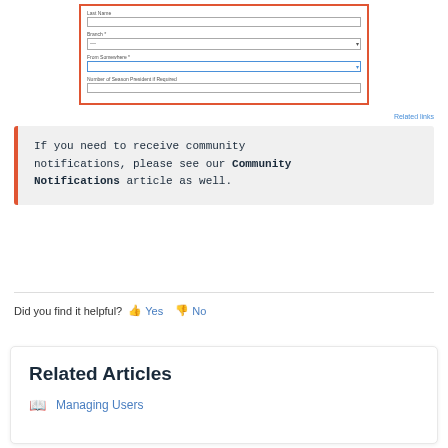[Figure (screenshot): Screenshot of a form with fields: Last Name, Branch (dropdown), From Somewhere (dropdown with blue border highlight), Number of Season President if Required]
Related links
If you need to receive community notifications, please see our Community Notifications article as well.
Did you find it helpful? Yes No
Related Articles
Managing Users